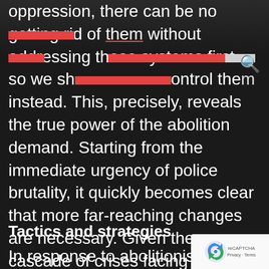oppression, there can be no getting rid of them without addressing those systems first, so we should try to control them instead. This, precisely, reveals the true power of the abolition demand. Starting from the immediate urgency of police brutality, it quickly becomes clear that more far-reaching changes are necessary. Given the cascade of crises facing our communities and our world, this is exactly the medicine that is needed.
Tactics and strategies
In response to abolitionists, community control backers warn that the system can't